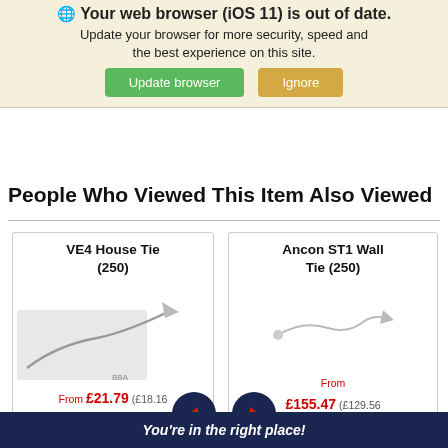[Figure (screenshot): Browser update notification banner with green 'Update browser' and tan 'Ignore' buttons, yellow background, showing iOS 11 out of date message]
No customer reviews have been written for this product yet.
People Who Viewed This Item Also Viewed
[Figure (screenshot): Product card: VE4 House Tie (250) with product image showing wall tie, price From £21.79 (£18.16 +VAT)]
[Figure (screenshot): Product card: Ancon ST1 Wall Tie (250) with product image, price From £155.47 (£129.56 +VAT)]
[Figure (other): Navigation arrows - left and right dark navy circular arrow buttons]
You're in the right place!